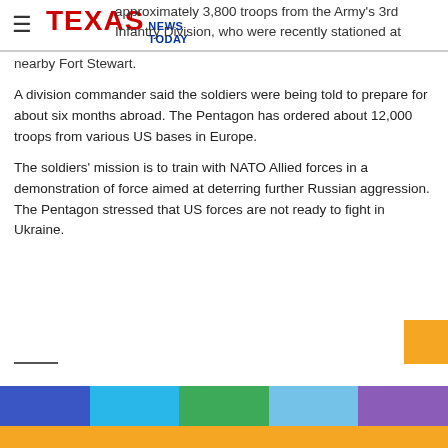Texas News Today
approximately 3,800 troops from the Army's 3rd Infantry Division, who were recently stationed at nearby Fort Stewart.
A division commander said the soldiers were being told to prepare for about six months abroad. The Pentagon has ordered about 12,000 troops from various US bases in Europe.
The soldiers' mission is to train with NATO Allied forces in a demonstration of force aimed at deterring further Russian aggression. The Pentagon stressed that US forces are not ready to fight in Ukraine.